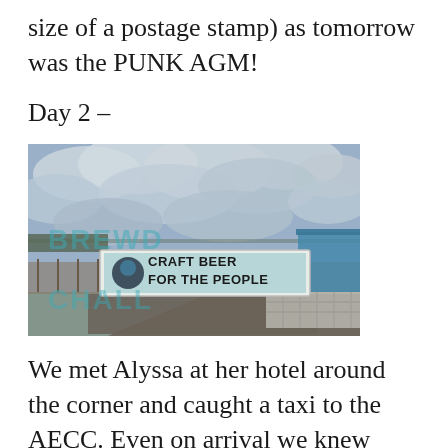size of a postage stamp) as tomorrow was the PUNK AGM!
Day 2 –
[Figure (photo): Outdoor photo showing a large sign reading 'CRAFT BEER FOR THE PEOPLE' with a face/logo graphic, displayed on a fence or trailer. Cloudy sky in background, road and metal barriers visible.]
We met Alyssa at her hotel around the corner and caught a taxi to the AECC. Even on arrival we knew